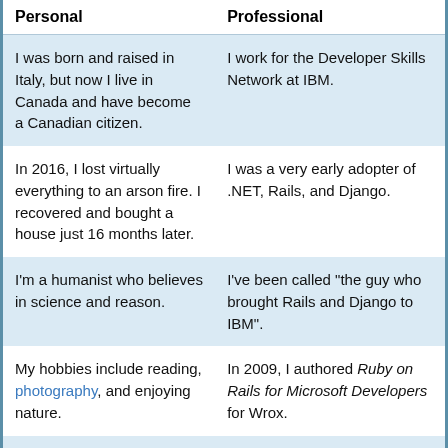| Personal | Professional |
| --- | --- |
| I was born and raised in Italy, but now I live in Canada and have become a Canadian citizen. | I work for the Developer Skills Network at IBM. |
| In 2016, I lost virtually everything to an arson fire. I recovered and bought a house just 16 months later. | I was a very early adopter of .NET, Rails, and Django. |
| I'm a humanist who believes in science and reason. | I've been called "the guy who brought Rails and Django to IBM". |
| My hobbies include reading, photography, and enjoying nature. | In 2009, I authored Ruby on Rails for Microsoft Developers for Wrox. |